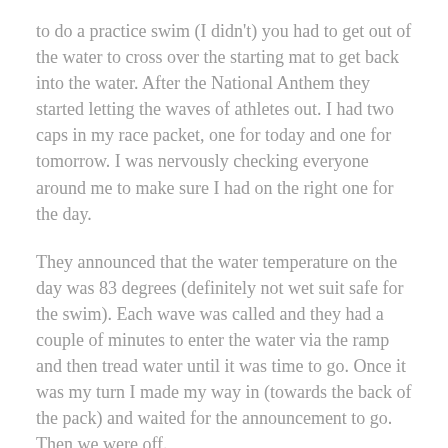to do a practice swim (I didn't) you had to get out of the water to cross over the starting mat to get back into the water. After the National Anthem they started letting the waves of athletes out. I had two caps in my race packet, one for today and one for tomorrow. I was nervously checking everyone around me to make sure I had on the right one for the day.
They announced that the water temperature on the day was 83 degrees (definitely not wet suit safe for the swim). Each wave was called and they had a couple of minutes to enter the water via the ramp and then tread water until it was time to go. Once it was my turn I made my way in (towards the back of the pack) and waited for the announcement to go. Then we were off.
The swim was an out and back around the buoys in a